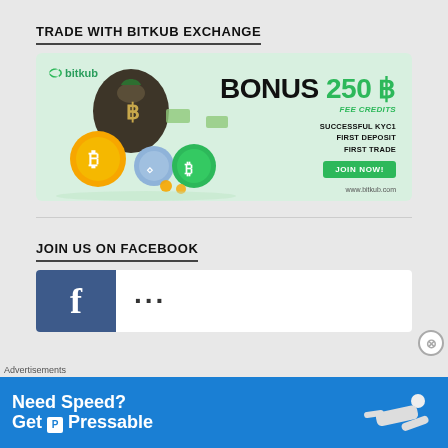TRADE WITH BITKUB EXCHANGE
[Figure (infographic): Bitkub Exchange advertisement banner showing animated cryptocurrency coins (Bitcoin, Ethereum) with a money bag, promoting BONUS 250 ฿ FEE CREDITS for SUCCESSFUL KYC1, FIRST DEPOSIT, FIRST TRADE with a JOIN NOW! button and www.bitkub.com URL]
JOIN US ON FACEBOOK
[Figure (screenshot): Partial Facebook page banner with blue Facebook logo area and grey background showing partial text/logo]
Advertisements
[Figure (infographic): Pressable hosting advertisement banner on blue background: Need Speed? Get P Pressable, with illustration of person flying horizontally]